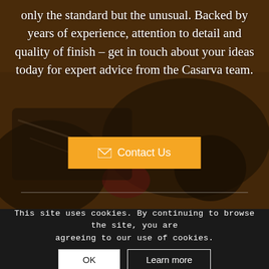[Figure (photo): Background photo of a motorcycle engine and body, dark warm-toned with brownish overlay]
only the standard but the unusual. Backed by years of experience, attention to detail and quality of finish – get in touch about your ideas today for expert advice from the Casarva team.
✉ Contact Us
This site uses cookies. By continuing to browse the site, you are agreeing to our use of cookies.
OK
Learn more